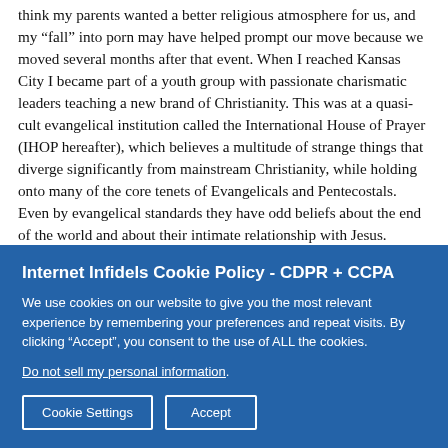think my parents wanted a better religious atmosphere for us, and my “fall” into porn may have helped prompt our move because we moved several months after that event. When I reached Kansas City I became part of a youth group with passionate charismatic leaders teaching a new brand of Christianity. This was at a quasi-cult evangelical institution called the International House of Prayer (IHOP hereafter), which believes a multitude of strange things that diverge significantly from mainstream Christianity, while holding onto many of the core tenets of Evangelicals and Pentecostals. Even by evangelical standards they have odd beliefs about the end of the world and about their intimate relationship with Jesus.
At 13-years-old, I responded to Lou Engle’s One Thing conference calling December 2004. They also called for...
Internet Infidels Cookie Policy - CDPR + CCPA
We use cookies on our website to give you the most relevant experience by remembering your preferences and repeat visits. By clicking “Accept”, you consent to the use of ALL the cookies.
Do not sell my personal information.